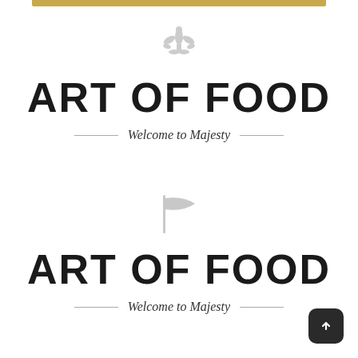[Figure (illustration): Gold/tan horizontal decorative bar at the top of the page]
[Figure (illustration): Light gray fleur-de-lis decorative symbol]
ART OF FOOD
Welcome to Majesty
[Figure (illustration): Light gray flag icon]
ART OF FOOD
Welcome to Majesty
[Figure (illustration): Dark rounded square back-to-top button with upward chevron arrow]